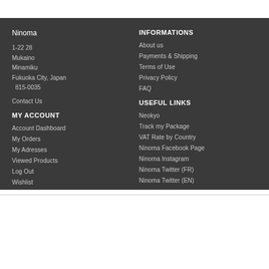Ninoma
1-22 28
Mukaino
Minamiku
Fukuoka City, Japan
  815-0035
Contact Us
MY ACCOUNT
Account Dashboard
My Orders
My Adresses
Viewed Products
Log Out
Wishlist
INFORMATIONS
About us
Payments & Shipping
Terms of Use
Privacy Policy
FAQ
USEFUL LINKS
Neokyo
Track my Package
VAT Rate by Country
Ninoma Facebook Page
Ninoma Instagram
Ninoma Twitter (FR)
Ninoma Twitter (EN)